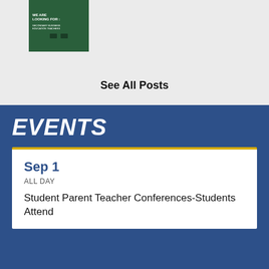[Figure (illustration): Small thumbnail image of a green poster with text 'WE ARE LOOKING FOR: SECONDARY BUSINESS EDUCATION TEACHERS']
See All Posts
EVENTS
Sep 1
ALL DAY
Student Parent Teacher Conferences-Students Attend